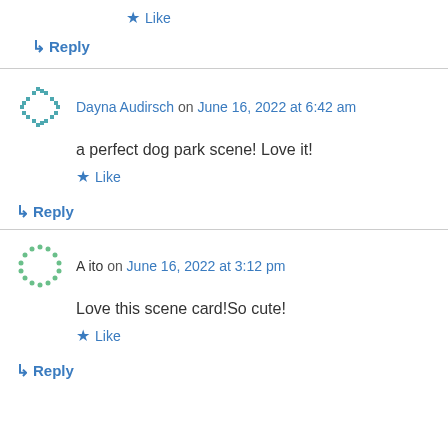★ Like
↳ Reply
Dayna Audirsch on June 16, 2022 at 6:42 am
a perfect dog park scene! Love it!
★ Like
↳ Reply
A ito on June 16, 2022 at 3:12 pm
Love this scene card!So cute!
★ Like
↳ Reply